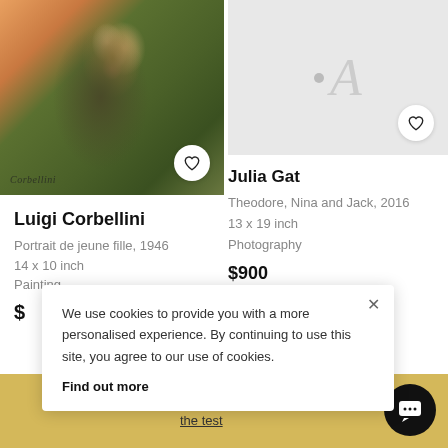[Figure (photo): Oil painting of a young woman wearing an olive-green headscarf, impressionist style, with signature 'Corbellini' at the bottom left]
Luigi Corbellini
Portrait de jeune fille, 1946
14 x 10 inch
Painting
$
[Figure (logo): Artsy placeholder logo with dot and stylized letter A on grey background]
Julia Gat
Theodore, Nina and Jack, 2016
13 x 19 inch
Photography
$900
We use cookies to provide you with a more personalised experience. By continuing to use this site, you agree to our use of cookies. Find out more
now ? Ta
the test